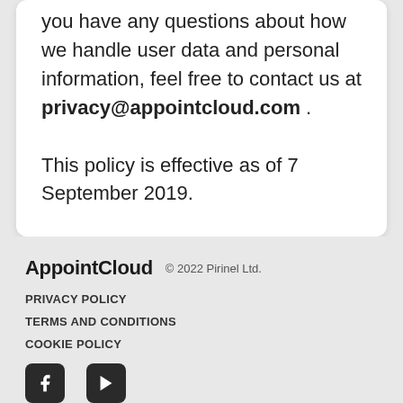you have any questions about how we handle user data and personal information, feel free to contact us at privacy@appointcloud.com .
This policy is effective as of 7 September 2019.
AppointCloud © 2022 Pirinel Ltd. PRIVACY POLICY TERMS AND CONDITIONS COOKIE POLICY